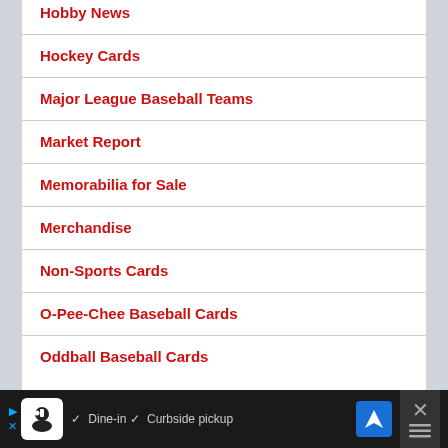Hobby News
Hockey Cards
Major League Baseball Teams
Market Report
Memorabilia for Sale
Merchandise
Non-Sports Cards
O-Pee-Chee Baseball Cards
Oddball Baseball Cards
[Figure (screenshot): Advertisement bar at bottom: restaurant ad with chef icon, dine-in and curbside pickup options, navigation icon, and close button]